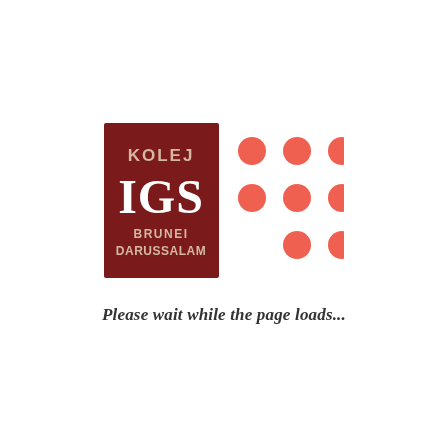[Figure (logo): Kolej IGS Brunei Darussalam logo: dark red/maroon square with text KOLEJ IGS BRUNEI DARUSSALAM in white, alongside a 3x3 grid of coral/salmon colored dots with the bottom-left dot missing]
Please wait while the page loads...